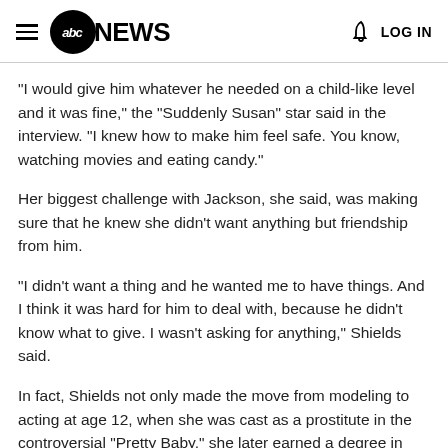abc NEWS  LOG IN
"I would give him whatever he needed on a child-like level and it was fine," the "Suddenly Susan" star said in the interview. "I knew how to make him feel safe. You know, watching movies and eating candy."
Her biggest challenge with Jackson, she said, was making sure that he knew she didn't want anything but friendship from him.
"I didn't want a thing and he wanted me to have things. And I think it was hard for him to deal with, because he didn't know what to give. I wasn't asking for anything," Shields said.
In fact, Shields not only made the move from modeling to acting at age 12, when she was cast as a prostitute in the controversial "Pretty Baby," she later earned a degree in French literature from Princeton.